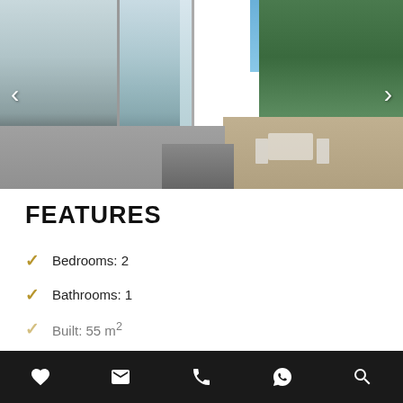[Figure (photo): Exterior photo of a residential property showing glass elevator/stairwell structure, patio area with outdoor furniture, greenery hedge wall, and stone tile flooring. Navigation arrows on left and right sides.]
FEATURES
Bedrooms: 2
Bathrooms: 1
Built: 55 m²